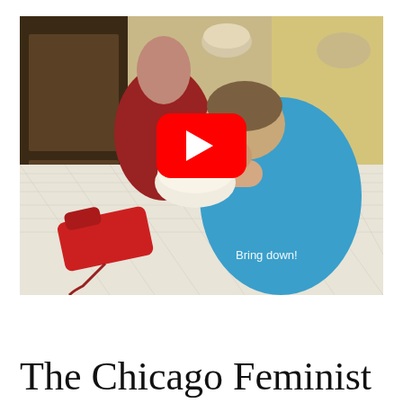[Figure (photo): A scene showing a person in a blue shirt hunched over a table with their head in their hand, a red rotary telephone on a lace tablecloth, popcorn on the table, and a person in red in the background. A YouTube play button overlay is centered on the image with the subtitle text 'Bring down!' visible in the lower right of the photo.]
The Chicago Feminist